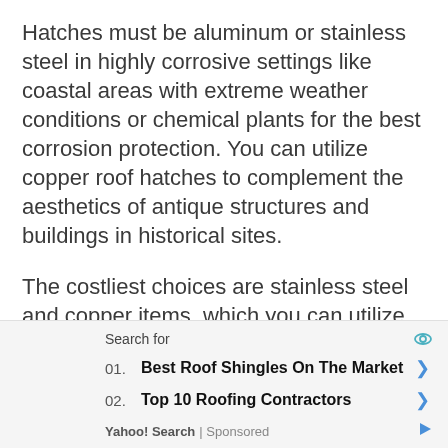Hatches must be aluminum or stainless steel in highly corrosive settings like coastal areas with extreme weather conditions or chemical plants for the best corrosion protection. You can utilize copper roof hatches to complement the aesthetics of antique structures and buildings in historical sites.
The costliest choices are stainless steel and copper items, which you can utilize for specific applications.
In addition to the possibilities mentioned above, most hatch manufacturers offer custom... corr... the... outside... aluminum... and... es.
[Figure (screenshot): Yahoo Search sponsored ad overlay showing 'Search for' label with eye icon, item 01 'Best Roof Shingles On The Market' with arrow, item 02 'Top 10 Roofing Contractors' with arrow, and Yahoo! Search | Sponsored footer with play icon.]